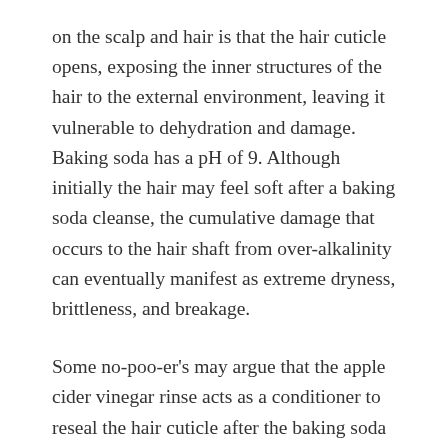on the scalp and hair is that the hair cuticle opens, exposing the inner structures of the hair to the external environment, leaving it vulnerable to dehydration and damage. Baking soda has a pH of 9. Although initially the hair may feel soft after a baking soda cleanse, the cumulative damage that occurs to the hair shaft from over-alkalinity can eventually manifest as extreme dryness, brittleness, and breakage.
Some no-poo-er's may argue that the apple cider vinegar rinse acts as a conditioner to reseal the hair cuticle after the baking soda cleanse, however this is inaccurate. Although apple cider vinegar does have the ability to smooth the cuticles and restore proper pH balance to the hair and scalp, this observation is only true to a certain